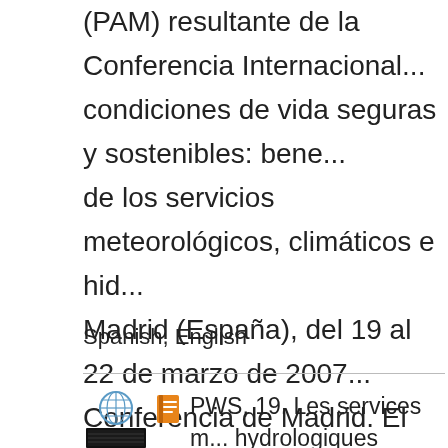(PAM) resultante de la Conferencia Internacional... condiciones de vida seguras y sostenibles: bene... de los servicios meteorológicos, climáticos e hid... Madrid (España), del 19 al 22 de marzo de 2007... Conferencia de Madrid. El informe se presenta e... apéndices. La primera sección, parte I del inform... de Madrid y al PAM. Se analizan las acciones de... propuestas sobre las form ...
Spanish, English
PWS, 19. Les services m... hydrologiques nationaux, leu...